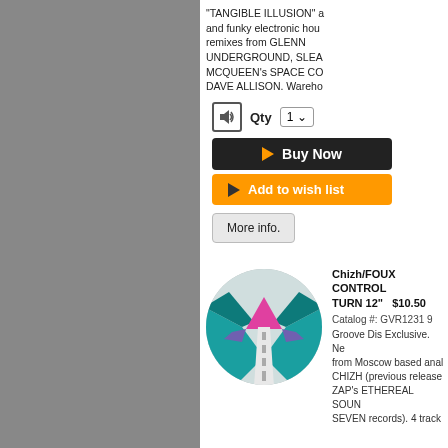"TANGIBLE ILLUSION" a and funky electronic hou remixes from GLENN UNDERGROUND, SLEA MCQUEEN's SPACE CO DAVE ALLISON. Wareho
Qty  1
Buy Now
Add to wish list
More info.
[Figure (illustration): Circular album art showing a road perspective with teal/green geometric shapes and a pink/magenta mountain shape against a light sky]
Chizh/FOUX CONTROL TURN 12"  $10.50
Catalog #: GVR1231 9 Groove Dis Exclusive. Ne from Moscow based anal CHIZH (previous release ZAP's ETHEREAL SOUN SEVEN records). 4 track